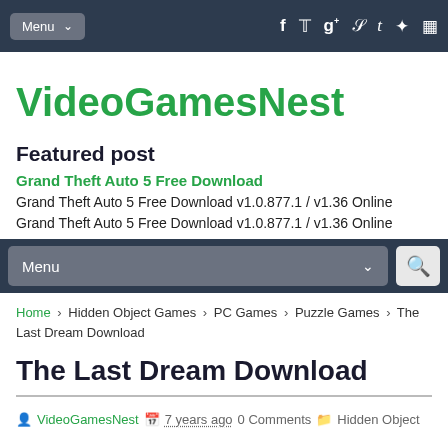Menu  [social icons: facebook, twitter, google+, stumbleupon, tumblr, pinterest, share]
VideoGamesNest
Featured post
Grand Theft Auto 5 Free Download
Grand Theft Auto 5 Free Download v1.0.877.1 / v1.36 Online
Grand Theft Auto 5 Free Download v1.0.877.1 / v1.36 Online
Menu [search]
Home > Hidden Object Games > PC Games > Puzzle Games > The Last Dream Download
The Last Dream Download
VideoGamesNest  7 years ago  0 Comments  Hidden Object